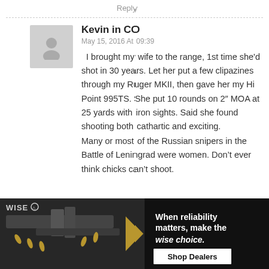Reply
Kevin in CO
May 15, 2016 At 09:39
I brought my wife to the range, 1st time she'd shot in 30 years. Let her put a few clipazines through my Ruger MKII, then gave her my Hi Point 995TS. She put 10 rounds on 2" MOA at 25 yards with iron sights. Said she found shooting both cathartic and exciting.
Many or most of the Russian snipers in the Battle of Leningrad were women. Don't ever think chicks can't shoot.
[Figure (photo): Advertisement banner for WISE brand showing a rifle and ammunition. Text reads: When reliability matters, make the wise choice. Shop Dealers.]